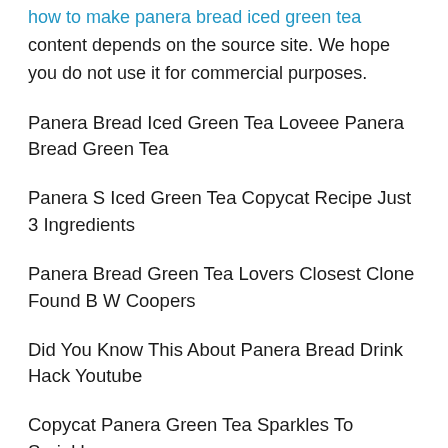how to make panera bread iced green tea content depends on the source site. We hope you do not use it for commercial purposes.
Panera Bread Iced Green Tea Loveee Panera Bread Green Tea
Panera S Iced Green Tea Copycat Recipe Just 3 Ingredients
Panera Bread Green Tea Lovers Closest Clone Found B W Coopers
Did You Know This About Panera Bread Drink Hack Youtube
Copycat Panera Green Tea Sparkles To Sprinkles
Panera Bread Hack Passionfruit Papaya Green Tea Sew Wonderfully